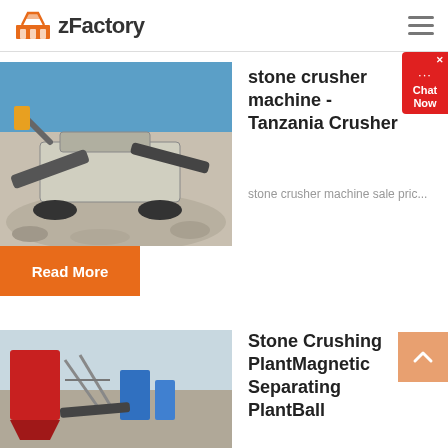zFactory
stone crusher machine - Tanzania Crusher
stone crusher machine sale pric...
Read More
Stone Crushing PlantMagnetic Separating PlantBall
[Figure (photo): Stone crusher machine equipment outdoors at a quarry site with blue sky background]
[Figure (photo): Stone crushing plant equipment with red machinery and industrial structures]